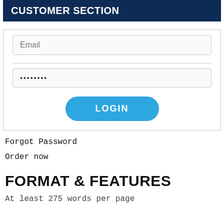CUSTOMER SECTION
[Figure (screenshot): Login form with Email input field, password input field showing dots, and a LOGIN button]
Forgot Password
Order now
FORMAT & FEATURES
At least 275 words per page